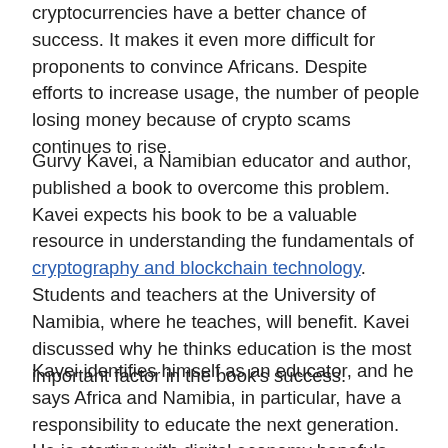cryptocurrencies have a better chance of success. It makes it even more difficult for proponents to convince Africans. Despite efforts to increase usage, the number of people losing money because of crypto scams continues to rise.
Gurvy Kavei, a Namibian educator and author, published a book to overcome this problem. Kavei expects his book to be a valuable resource in understanding the fundamentals of cryptography and blockchain technology. Students and teachers at the University of Namibia, where he teaches, will benefit. Kavei discussed why he thinks education is the most important factor in the book's success.
Kavei identifies himself as an educator, and he says Africa and Namibia, in particular, have a responsibility to educate the next generation. He is starting with digital economy hopefuls about crypto and blockchain...